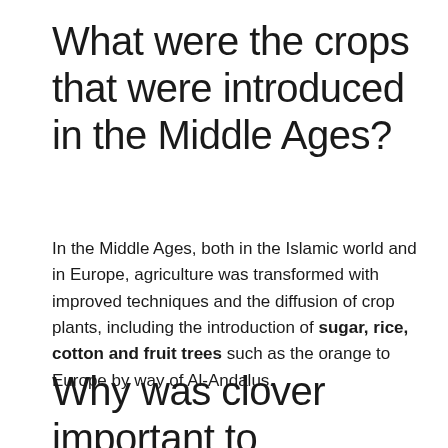What were the crops that were introduced in the Middle Ages?
In the Middle Ages, both in the Islamic world and in Europe, agriculture was transformed with improved techniques and the diffusion of crop plants, including the introduction of sugar, rice, cotton and fruit trees such as the orange to Europe by way of Al-Andalus.
Why was clover important to